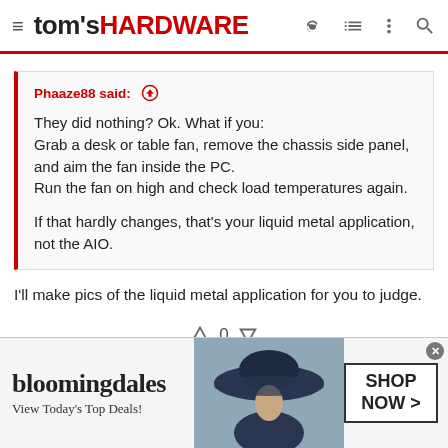tom's HARDWARE
Phaaze88 said: ↑

They did nothing? Ok. What if you:
Grab a desk or table fan, remove the chassis side panel, and aim the fan inside the PC.
Run the fan on high and check load temperatures again.

If that hardly changes, that's your liquid metal application, not the AIO.
I'll make pics of the liquid metal application for you to judge.
↑ 0 ↓
[Figure (screenshot): Bloomingdale's advertisement banner: 'bloomingdales / View Today's Top Deals!' with a woman in a large hat and a 'SHOP NOW >' button]